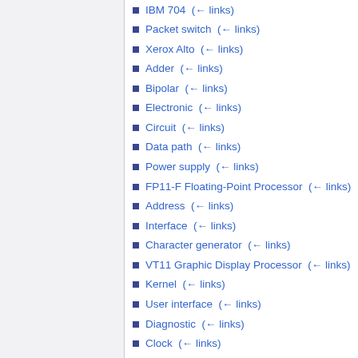IBM 704  (← links)
Packet switch  (← links)
Xerox Alto  (← links)
Adder  (← links)
Bipolar  (← links)
Electronic  (← links)
Circuit  (← links)
Data path  (← links)
Power supply  (← links)
FP11-F Floating-Point Processor  (← links)
Address  (← links)
Interface  (← links)
Character generator  (← links)
VT11 Graphic Display Processor  (← links)
Kernel  (← links)
User interface  (← links)
Diagnostic  (← links)
Clock  (← links)
Type  (← links)
Logic  (← links)
Vector graphics  (← links)
Display  (← links)
Memory  (← links)